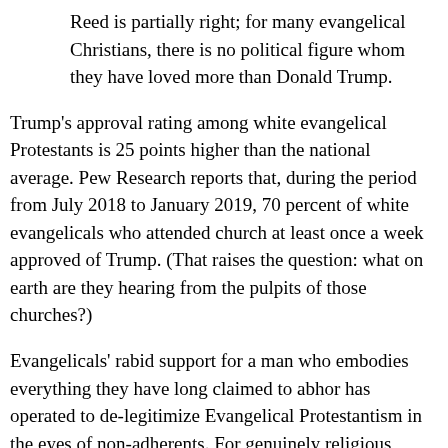Reed is partially right; for many evangelical Christians, there is no political figure whom they have loved more than Donald Trump.
Trump's approval rating among white evangelical Protestants is 25 points higher than the national average. Pew Research reports that, during the period from July 2018 to January 2019, 70 percent of white evangelicals who attended church at least once a week approved of Trump. (That raises the question: what on earth are they hearing from the pulpits of those churches?)
Evangelicals' rabid support for a man who embodies everything they have long claimed to abhor has operated to de-legitimize Evangelical Protestantism in the eyes of non-adherents. For genuinely religious Christians, this has been hurtful. Peter Wehner, who authored the Atlantic article, writes